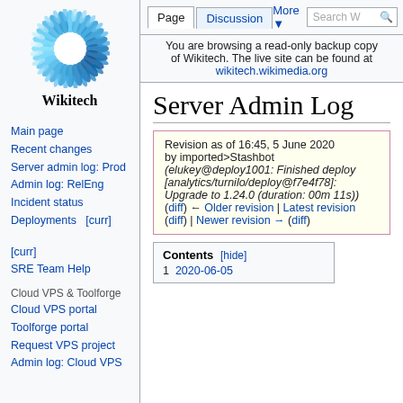[Figure (logo): Wikitech logo — sunflower-like circular logo with blue petals and white center]
Wikitech
Main page
Recent changes
Server admin log: Prod
Admin log: RelEng
Incident status
Deployments   [curr] [curr]
SRE Team Help
Cloud VPS & Toolforge
Cloud VPS portal
Toolforge portal
Request VPS project
Admin log: Cloud VPS
Log in
Page  Discussion  More ▼  Search W🔍
You are browsing a read-only backup copy of Wikitech. The live site can be found at wikitech.wikimedia.org
Server Admin Log
Revision as of 16:45, 5 June 2020 by imported>Stashbot (elukey@deploy1001: Finished deploy [analytics/turnilo/deploy@f7e4f78]: Upgrade to 1.24.0 (duration: 00m 11s)) (diff) ← Older revision | Latest revision (diff) | Newer revision → (diff)
Contents [hide]
1 2020-06-05